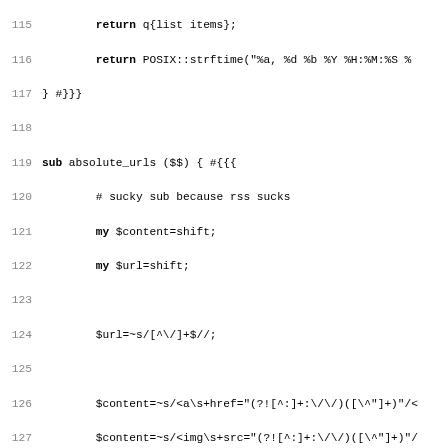[Figure (screenshot): Source code listing in monospace font showing Perl subroutines: lines 115-147 including absolute_urls, rsspage, and genrss functions with line numbers on the left.]